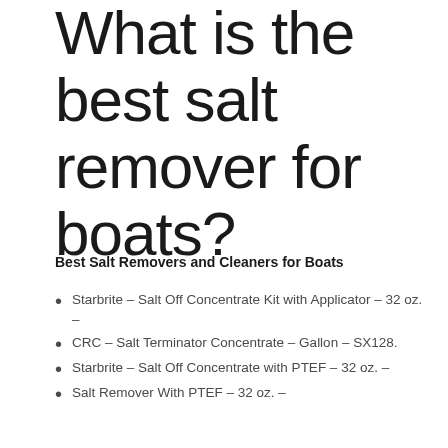What is the best salt remover for boats?
Best Salt Removers and Cleaners for Boats
Starbrite – Salt Off Concentrate Kit with Applicator – 32 oz. –
CRC – Salt Terminator Concentrate – Gallon – SX128.
Starbrite – Salt Off Concentrate with PTEF – 32 oz. –
Salt Remover With PTEF – 32 oz. –